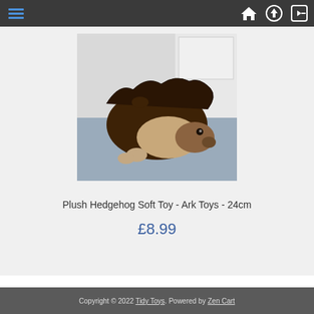Navigation bar with hamburger menu and icons for home, upload, and login
[Figure (photo): Photo of a plush hedgehog soft toy sitting on a blue-grey textured surface with a white door/wall in background. Hedgehog is brown and cream coloured.]
Plush Hedgehog Soft Toy - Ark Toys - 24cm
£8.99
Copyright © 2022 Tidy Toys. Powered by Zen Cart